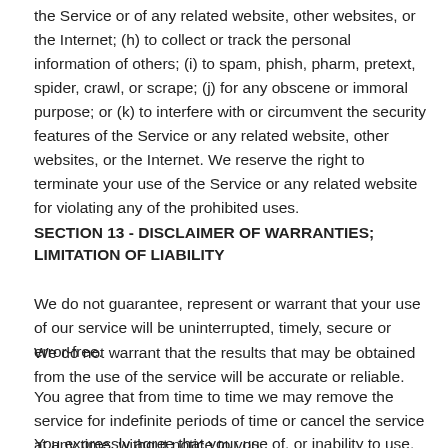the Service or of any related website, other websites, or the Internet; (h) to collect or track the personal information of others; (i) to spam, phish, pharm, pretext, spider, crawl, or scrape; (j) for any obscene or immoral purpose; or (k) to interfere with or circumvent the security features of the Service or any related website, other websites, or the Internet. We reserve the right to terminate your use of the Service or any related website for violating any of the prohibited uses.
SECTION 13 - DISCLAIMER OF WARRANTIES; LIMITATION OF LIABILITY
We do not guarantee, represent or warrant that your use of our service will be uninterrupted, timely, secure or error-free.
We do not warrant that the results that may be obtained from the use of the service will be accurate or reliable.
You agree that from time to time we may remove the service for indefinite periods of time or cancel the service at any time, without notice to you.
You expressly agree that your use of, or inability to use, the